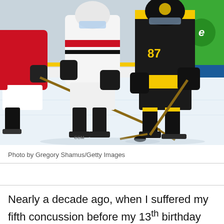[Figure (photo): Ice hockey game action photo showing Pittsburgh Penguins player #87 in black and yellow jersey controlling the puck against Ottawa Senators players in white and red jerseys on ice rink. Reebok and sponsor banners visible in background.]
Photo by Gregory Shamus/Getty Images
Nearly a decade ago, when I suffered my fifth concussion before my 13th birthday and left my school